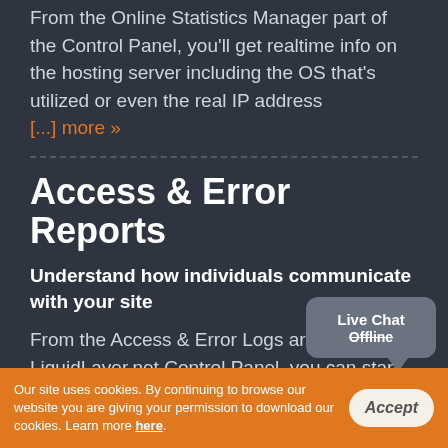From the Online Statistics Manager part of the Control Panel, you'll get realtime info on the hosting server including the OS that's utilized or even the real IP address [...] more »
Access & Error Reports
Understand how individuals communicate with your site
From the Access & Error Logs area of the LiquidLayer.net Control Panel, you can start and monitor the access and error listing for any sites managed within your shared web [...] more »
[Figure (other): Live Chat Offline popup bubble widget]
Our site uses cookies. By continuing to browse our website you are giving your permission to download our cookies. Learn more here.